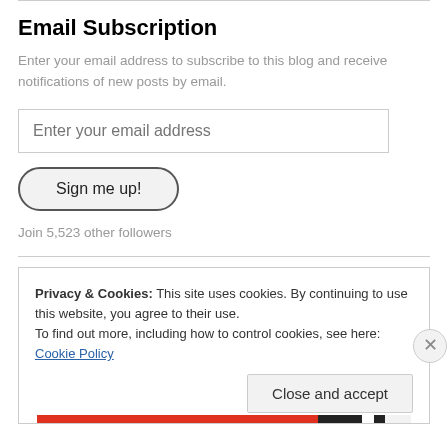Email Subscription
Enter your email address to subscribe to this blog and receive notifications of new posts by email.
Enter your email address
Sign me up!
Join 5,523 other followers
Privacy & Cookies: This site uses cookies. By continuing to use this website, you agree to their use.
To find out more, including how to control cookies, see here: Cookie Policy
Close and accept